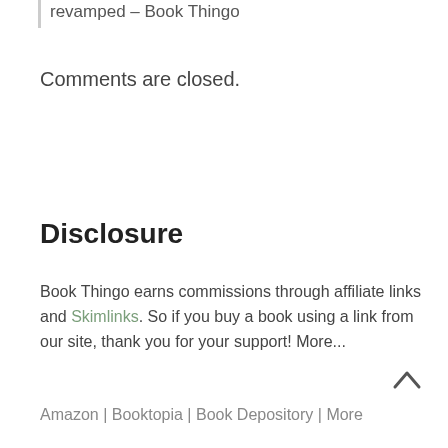revamped – Book Thingo
Comments are closed.
Disclosure
Book Thingo earns commissions through affiliate links and Skimlinks. So if you buy a book using a link from our site, thank you for your support! More...
Amazon | Booktopia | Book Depository | More